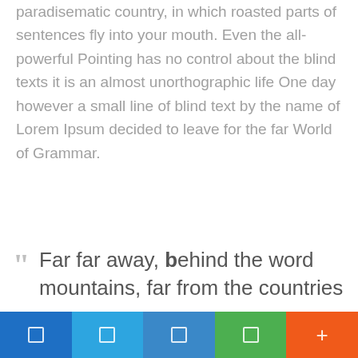paradisematic country, in which roasted parts of sentences fly into your mouth. Even the all-powerful Pointing has no control about the blind texts it is an almost unorthographic life One day however a small line of blind text by the name of Lorem Ipsum decided to leave for the far World of Grammar.
Far far away, behind the word mountains, far from the countries
[navigation bar with icons]